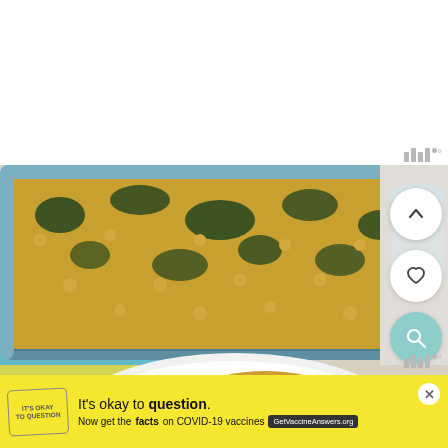[Figure (photo): Food photography showing a casserole dish with baked chickpea, kale and potato dish in a blue/teal baking pan, with a plated serving on a white plate with a fork, on a colorful striped cloth]
[Figure (logo): Millstreet logo top right (grey bars and dot with degree symbol)]
[Figure (infographic): Yellow advertisement banner: 'It's okay to question. Now get the facts on COVID-19 vaccines GetVaccineAnswers.org' with close button and logo]
[Figure (logo): Millstreet logo bottom right (grey bars and dot with degree symbol)]